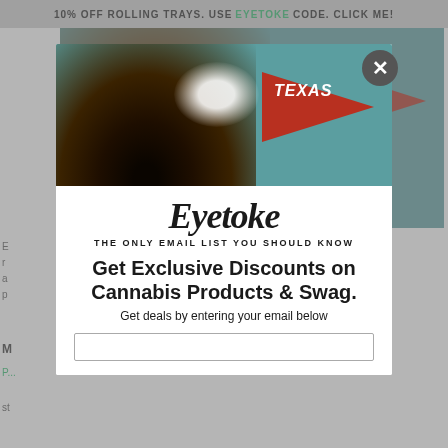10% OFF ROLLING TRAYS. USE EYETOKE CODE. CLICK ME!
[Figure (photo): Modal popup overlay showing a person exhaling smoke with a Texas pennant in the background, branded with Eyetoke logo]
Eyetoke
THE ONLY EMAIL LIST YOU SHOULD KNOW
Get Exclusive Discounts on Cannabis Products & Swag.
Get deals by entering your email below